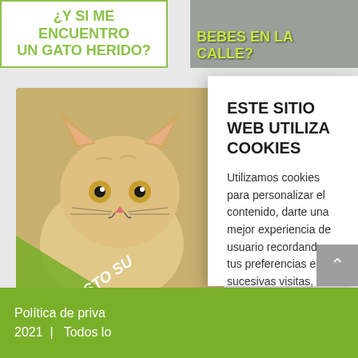[Figure (illustration): Banner with green border and text '¿Y SI ME ENCUENTRO UN GATO HERIDO?' in green uppercase letters on white background]
[Figure (photo): Photo of rocks/stones background with text 'BEBES EN LA CALLE?' in yellow-green uppercase letters]
[Figure (photo): Photo of an orange/cream stray cat with green diagonal banner overlay reading '¿HAS VISTO SU']
ESTE SITIO WEB UTILIZA COOKIES
Utilizamos cookies para personalizar el contenido, darte una mejor experiencia de usuario recordando tus preferencias en sucesivas visitas, ofrecer funciones de medios sociales y analizar el tráfico del sitio.
Aceptar todas
Política de privacidad
Política de privacidad | 2021 | Todos lo